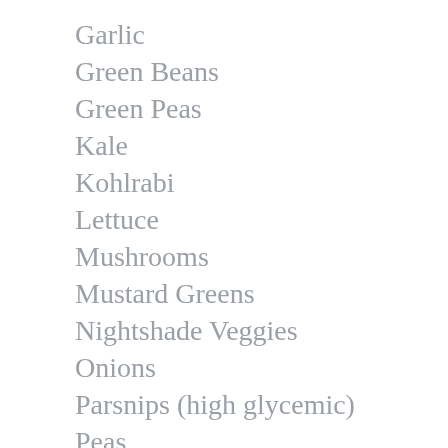Garlic
Green Beans
Green Peas
Kale
Kohlrabi
Lettuce
Mushrooms
Mustard Greens
Nightshade Veggies
Onions
Parsnips (high glycemic)
Peas
Peppers
Pumpkin